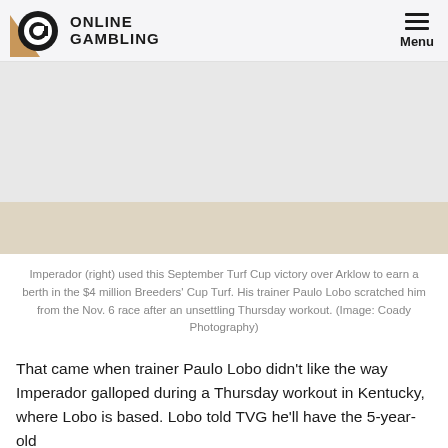ONLINE GAMBLING  Menu
[Figure (photo): Photograph of two horses racing on a turf course, Imperador on the right and Arklow on the left, during the September Turf Cup race.]
Imperador (right) used this September Turf Cup victory over Arklow to earn a berth in the $4 million Breeders' Cup Turf. His trainer Paulo Lobo scratched him from the Nov. 6 race after an unsettling Thursday workout. (Image: Coady Photography)
That came when trainer Paulo Lobo didn't like the way Imperador galloped during a Thursday workout in Kentucky, where Lobo is based. Lobo told TVG he'll have the 5-year-old